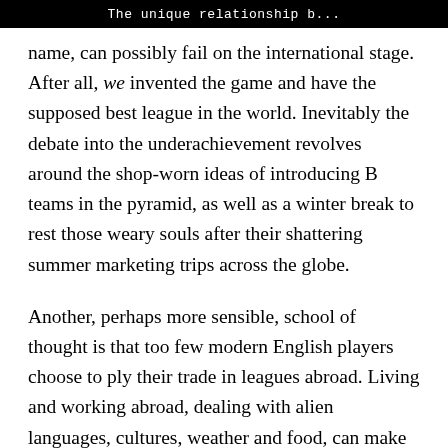The unique relationship b...
name, can possibly fail on the international stage. After all, we invented the game and have the supposed best league in the world. Inevitably the debate into the underachievement revolves around the shop-worn ideas of introducing B teams in the pyramid, as well as a winter break to rest those weary souls after their shattering summer marketing trips across the globe.
Another, perhaps more sensible, school of thought is that too few modern English players choose to ply their trade in leagues abroad. Living and working abroad, dealing with alien languages, cultures, weather and food, can make or break you as a human being and acts an immense character builder. For a footballer going abroad it's doubly difficult; not only do they have to deal